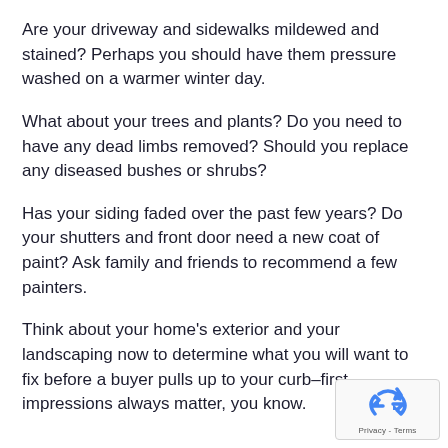Are your driveway and sidewalks mildewed and stained? Perhaps you should have them pressure washed on a warmer winter day.
What about your trees and plants? Do you need to have any dead limbs removed? Should you replace any diseased bushes or shrubs?
Has your siding faded over the past few years? Do your shutters and front door need a new coat of paint? Ask family and friends to recommend a few painters.
Think about your home's exterior and your landscaping now to determine what you will want to fix before a buyer pulls up to your curb–first impressions always matter, you know.
View Article >
[Figure (logo): reCAPTCHA badge with recycling arrow icon and Privacy - Terms text]